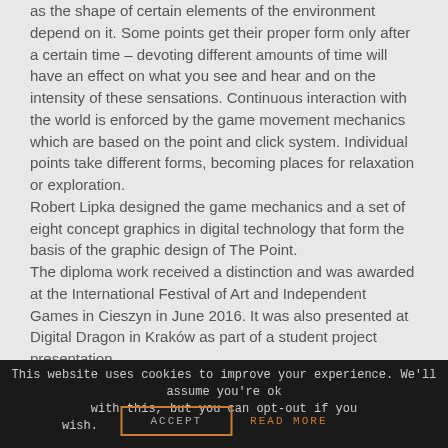as the shape of certain elements of the environment depend on it. Some points get their proper form only after a certain time – devoting different amounts of time will have an effect on what you see and hear and on the intensity of these sensations. Continuous interaction with the world is enforced by the game movement mechanics which are based on the point and click system. Individual points take different forms, becoming places for relaxation or exploration.
Robert Lipka designed the game mechanics and a set of eight concept graphics in digital technology that form the basis of the graphic design of The Point.
The diploma work received a distinction and was awarded at the International Festival of Art and Independent Games in Cieszyn in June 2016. It was also presented at Digital Dragon in Kraków as part of a student project presentation.
This website uses cookies to improve your experience. We'll assume you're ok with this, but you can opt-out if you wish. ACCEPT READ MORE